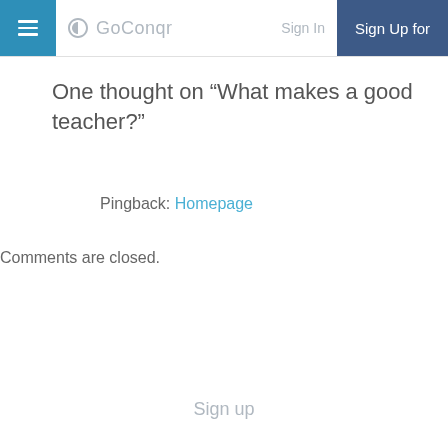GoConqr — Sign In | Sign Up for
One thought on “What makes a good teacher?”
Pingback: Homepage
Comments are closed.
Sign up